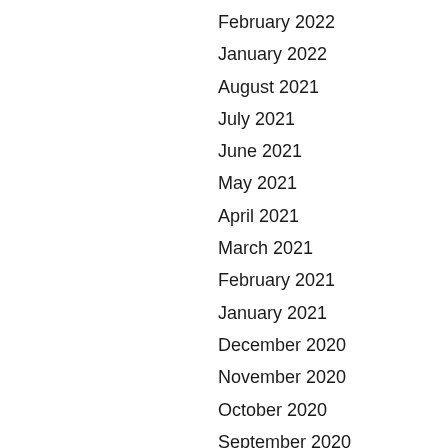February 2022
January 2022
August 2021
July 2021
June 2021
May 2021
April 2021
March 2021
February 2021
January 2021
December 2020
November 2020
October 2020
September 2020
August 2020
July 2020
June 2020
May 2020